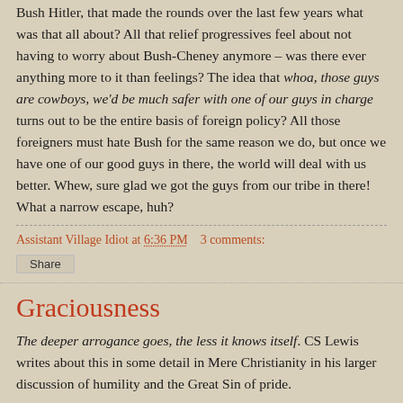Bush Hitler, that made the rounds over the last few years what was that all about? All that relief progressives feel about not having to worry about Bush-Cheney anymore – was there ever anything more to it than feelings? The idea that whoa, those guys are cowboys, we'd be much safer with one of our guys in charge turns out to be the entire basis of foreign policy? All those foreigners must hate Bush for the same reason we do, but once we have one of our good guys in there, the world will deal with us better. Whew, sure glad we got the guys from our tribe in there! What a narrow escape, huh?
Assistant Village Idiot at 6:36 PM    3 comments:
Share
Graciousness
The deeper arrogance goes, the less it knows itself. CS Lewis writes about this in some detail in Mere Christianity in his larger discussion of humility and the Great Sin of pride.